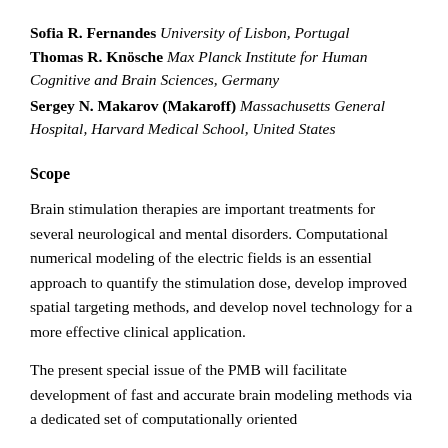Sofia R. Fernandes University of Lisbon, Portugal
Thomas R. Knösche Max Planck Institute for Human Cognitive and Brain Sciences, Germany
Sergey N. Makarov (Makaroff) Massachusetts General Hospital, Harvard Medical School, United States
Scope
Brain stimulation therapies are important treatments for several neurological and mental disorders. Computational numerical modeling of the electric fields is an essential approach to quantify the stimulation dose, develop improved spatial targeting methods, and develop novel technology for a more effective clinical application.
The present special issue of the PMB will facilitate development of fast and accurate brain modeling methods via a dedicated set of computationally oriented